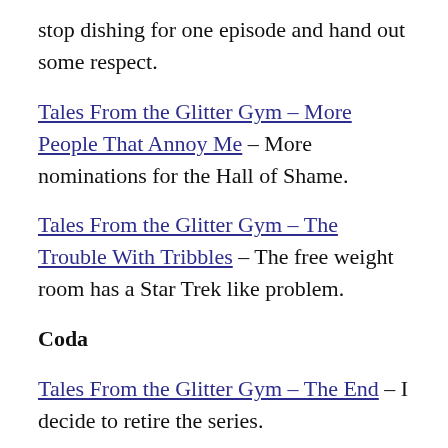stop dishing for one episode and hand out some respect.
Tales From the Glitter Gym – More People That Annoy Me – More nominations for the Hall of Shame.
Tales From the Glitter Gym – The Trouble With Tribbles – The free weight room has a Star Trek like problem.
Coda
Tales From the Glitter Gym – The End – I decide to retire the series.